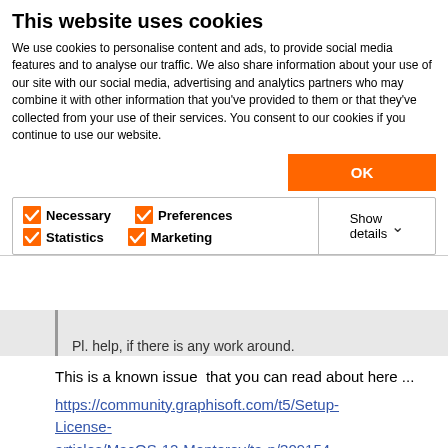This website uses cookies
We use cookies to personalise content and ads, to provide social media features and to analyse our traffic. We also share information about your use of our site with our social media, advertising and analytics partners who may combine it with other information that you've provided to them or that they've collected from your use of their services. You consent to our cookies if you continue to use our website.
Pl. help, if there is any work around.
This is a known issue  that you can read about here ...
https://community.graphisoft.com/t5/Setup-License-articles/MacOS-12-Monterey/ta-p/309154
In the replies you will find some solutions.
But hopefully it will be fixed in the next update...